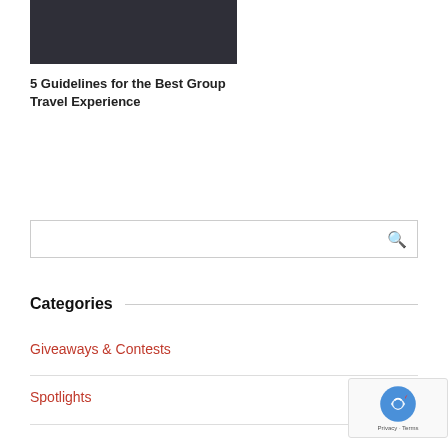[Figure (photo): Dark rectangular image placeholder at top left]
5 Guidelines for the Best Group Travel Experience
[Figure (screenshot): Search input box with magnifying glass icon]
Categories
Giveaways & Contests
Spotlights
[Figure (other): reCAPTCHA Privacy - Terms badge]